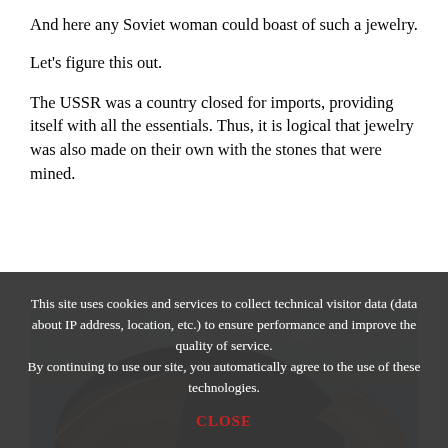And here any Soviet woman could boast of such a jewelry.
Let's figure this out.
The USSR was a country closed for imports, providing itself with all the essentials. Thus, it is logical that jewelry was also made on their own with the stones that were mined.
[Figure (photo): Aerial panoramic view of a large open-pit diamond mine with terraced walls spiraling downward, under a cloudy sky.]
This site uses cookies and services to collect technical visitor data (data about IP address, location, etc.) to ensure performance and improve the quality of service. By continuing to use our site, you automatically agree to the use of these technologies.
CLOSE